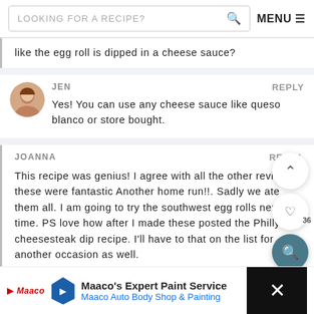LOOKING FOR A RECIPE? [search] MENU ≡
like the egg roll is dipped in a cheese sauce?
JEN
REPLY
Yes! You can use any cheese sauce like queso blanco or store bought.
JOANNA
REPLY
This recipe was genius! I agree with all the other reviews- these were fantastic Another home run!!. Sadly we ate them all. I am going to try the southwest egg rolls next time. PS love how after I made these posted the Philly cheesesteak dip recipe. I'll have to that on the list for another occasion as well.
JEN
REPLY
[Figure (infographic): Advertisement: Maaco's Expert Paint Service - Maaco Auto Body Shop & Painting with Maaco logo and road sign icon]